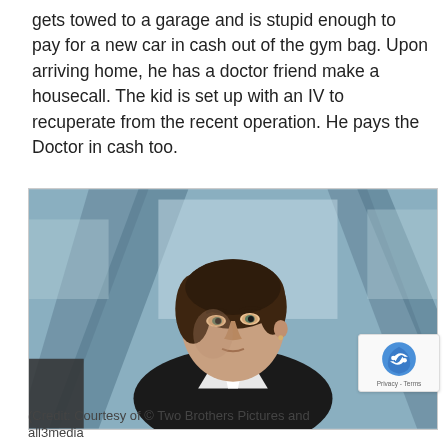gets towed to a garage and is stupid enough to pay for a new car in cash out of the gym bag. Upon arriving home, he has a doctor friend make a housecall. The kid is set up with an IV to recuperate from the recent operation. He pays the Doctor in cash too.
[Figure (photo): A woman with short brown hair wearing a black leather jacket over a white collared shirt, looking thoughtfully to her left. She is photographed in a modern interior with large glass windows showing a blurred cityscape background. The image appears to be a still from a TV show or film.]
(Credit: Courtesy of © Two Brothers Pictures and all3media